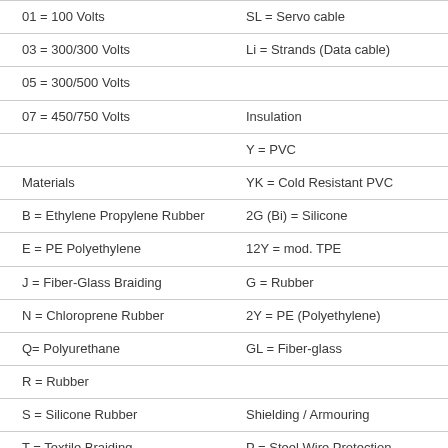| 01 = 100 Volts | SL = Servo cable |
| 03 = 300/300 Volts | Li = Strands (Data cable) |
| 05 = 300/500 Volts |  |
| 07 = 450/750 Volts | Insulation |
|  | Y = PVC |
| Materials | YK = Cold Resistant PVC |
| B = Ethylene Propylene Rubber | 2G (Bi) = Silicone |
| E = PE Polyethylene | 12Y = mod. TPE |
| J = Fiber-Glass Braiding | G = Rubber |
| N = Chloroprene Rubber | 2Y = PE (Polyethylene) |
| Q= Polyurethane | GL = Fiber-glass |
| R = Rubber |  |
| S = Silicone Rubber | Shielding / Armouring |
| T = Textile Braiding | P = Steel Wire Protection |